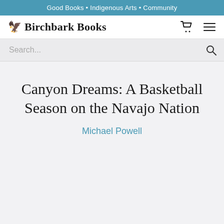Good Books • Indigenous Arts • Community
Birchbark Books
Search...
Canyon Dreams: A Basketball Season on the Navajo Nation
Michael Powell